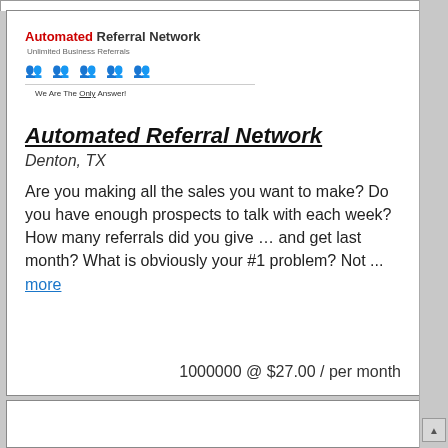[Figure (logo): Automated Referral Network logo with red 'Automated' text, person icons in red, horizontal divider, and tagline 'We Are The Only Answer!']
Automated Referral Network
Denton, TX
Are you making all the sales you want to make? Do you have enough prospects to talk with each week? How many referrals did you give … and get last month? What is obviously your #1 problem? Not ... more
1000000 @ $27.00 / per month